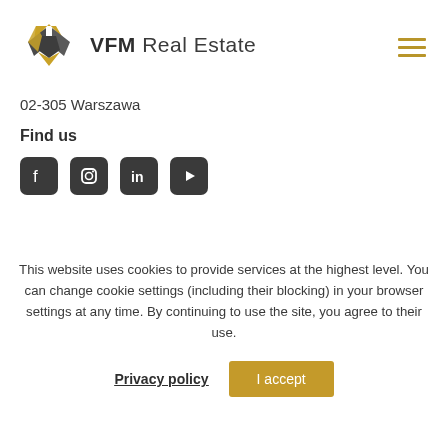[Figure (logo): VFM Real Estate logo with geometric diamond shape in gold and dark grey, with text 'VFM Real Estate']
02-305 Warszawa
Find us
[Figure (illustration): Social media icons: Facebook, Instagram, LinkedIn, YouTube — dark grey rounded square icons]
This website uses cookies to provide services at the highest level. You can change cookie settings (including their blocking) in your browser settings at any time. By continuing to use the site, you agree to their use.
Privacy policy
I accept